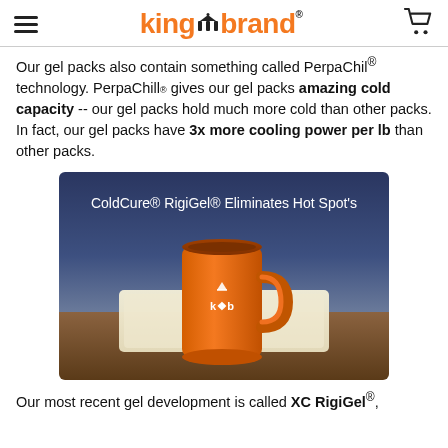king brand
Our gel packs also contain something called PerpaChil® technology. PerpaChill® gives our gel packs amazing cold capacity -- our gel packs hold much more cold than other packs. In fact, our gel packs have 3x more cooling power per lb than other packs.
[Figure (illustration): Illustration of an orange mug with King Brand logo sitting on a cream-colored pad on a wooden table. Text overlay reads: ColdCure® RigiGel® Eliminates Hot Spot's]
Our most recent gel development is called XC RigiGel®,